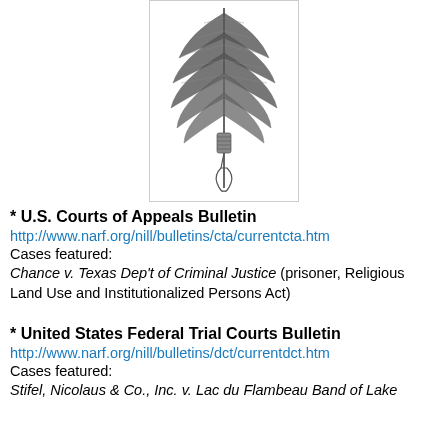[Figure (illustration): A detailed black and white ink drawing of a Native American feather with decorative wrapping and a hanging ornament at the bottom, displayed inside a light-bordered box.]
* U.S. Courts of Appeals Bulletin
http://www.narf.org/nill/bulletins/cta/currentcta.htm
Cases featured:
Chance v. Texas Dep't of Criminal Justice (prisoner, Religious Land Use and Institutionalized Persons Act)
* United States Federal Trial Courts Bulletin
http://www.narf.org/nill/bulletins/dct/currentdct.htm
Cases featured:
Stifel, Nicolaus & Co., Inc. v. Lac du Flambeau Band of Lake